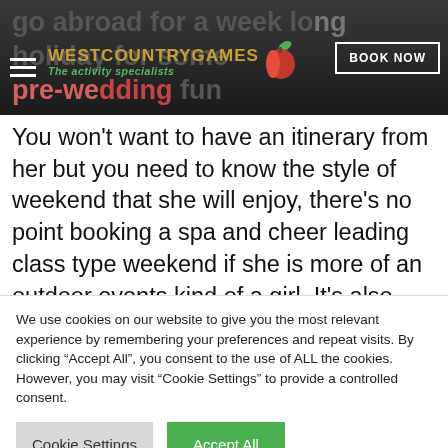go abroad for a week long holiday for some pre-wedding fun
[Figure (logo): West Country Games logo with apple icon and tagline 'The activity specialists']
BOOK NOW
You won't want to have an itinerary from her but you need to know the style of weekend that she will enjoy, there's no point booking a spa and cheer leading class type weekend if she is more of an outdoor events kind of a girl. It's also important to make sure that her
We use cookies on our website to give you the most relevant experience by remembering your preferences and repeat visits. By clicking "Accept All", you consent to the use of ALL the cookies. However, you may visit "Cookie Settings" to provide a controlled consent.
Cookie Settings
Accept All